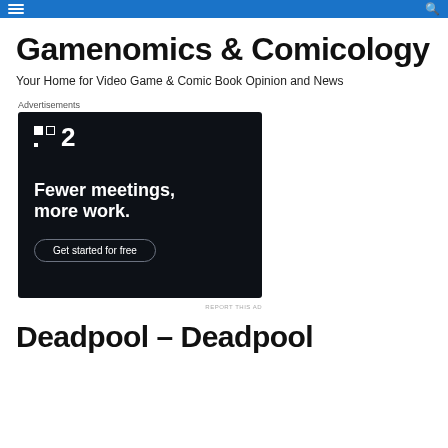Gamenomics & Comicology
Your Home for Video Game & Comic Book Opinion and News
Advertisements
[Figure (screenshot): Advertisement for a project management tool showing the logo with two squares and the number 2, headline 'Fewer meetings, more work.' and a 'Get started for free' button on a dark navy background.]
REPORT THIS AD
Deadpool – Deadpool